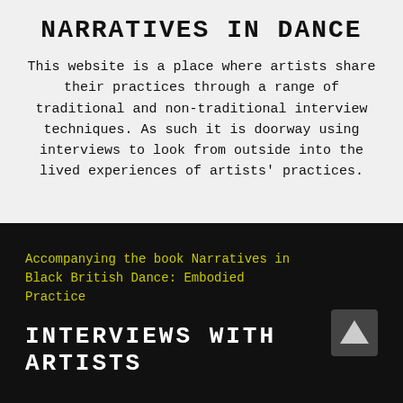NARRATIVES IN DANCE
This website is a place where artists share their practices through a range of traditional and non-traditional interview techniques. As such it is doorway using interviews to look from outside into the lived experiences of artists' practices.
Accompanying the book Narratives in Black British Dance: Embodied Practice
INTERVIEWS WITH ARTISTS